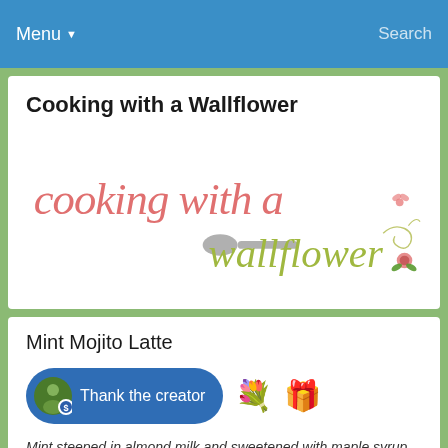Menu   Search
Cooking with a Wallflower
[Figure (logo): Cooking with a Wallflower logo: 'cooking with a' in coral/pink serif font, a gray spoon, and 'wallflower' in olive green script with decorative floral elements and a butterfly]
Mint Mojito Latte
Thank the creator
Mint steeped in almond milk and sweetened with maple syrup then